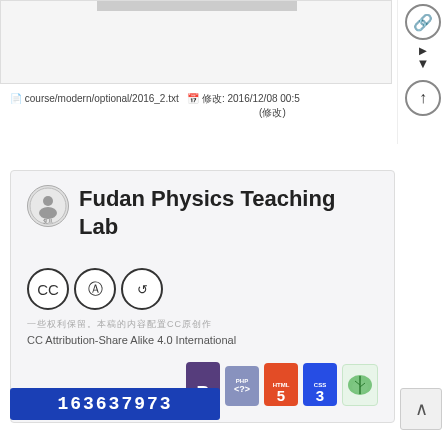[Figure (screenshot): Top portion of a web page showing a file entry with a grey content bar]
course/modern/optional/2016_2.txt  修改: 2016/12/08 00:5 (修改)
[Figure (infographic): Fudan Physics Teaching Lab wiki card with CC Attribution-Share Alike 4.0 International license and technology badges (Bootstrap, PHP, HTML5, CSS3, Piwik)]
[Figure (infographic): Blue counter bar showing visitor count: 163637973]
[Figure (infographic): Scroll-to-top button on the right side]